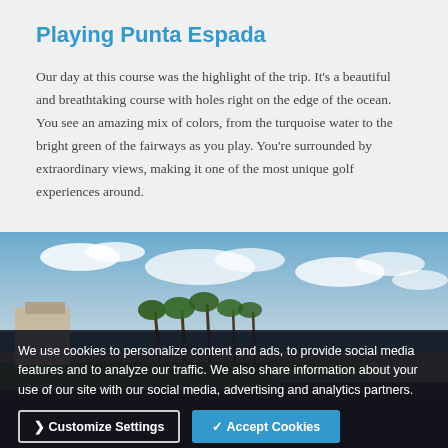Playing Punta Espada
Our day at this course was the highlight of the trip. It’s a beautiful and breathtaking course with holes right on the edge of the ocean. You see an amazing mix of colors, from the turquoise water to the bright green of the fairways as you play. You’re surrounded by extraordinary views, making it one of the most unique golf experiences around.
[Figure (photo): Panoramic photo of a coastal golf course with palm trees, ocean view, and partly cloudy sky]
We use cookies to personalize content and ads, to provide social media features and to analyze our traffic. We also share information about your use of our site with our social media, advertising and analytics partners.